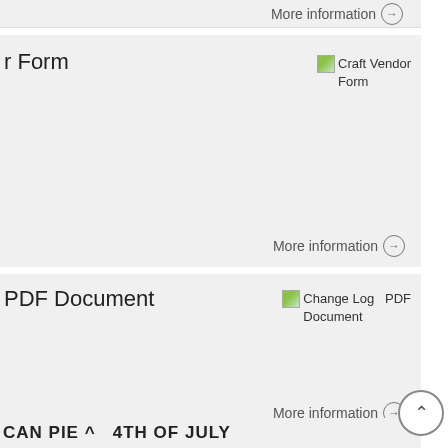More information →
r Form
[Figure (screenshot): Craft Vendor Form image placeholder with green icon]
More information →
PDF Document
[Figure (screenshot): Change Log PDF Document image placeholder with green icon]
More information →
CAN PIE ^ 4TH OF JULY